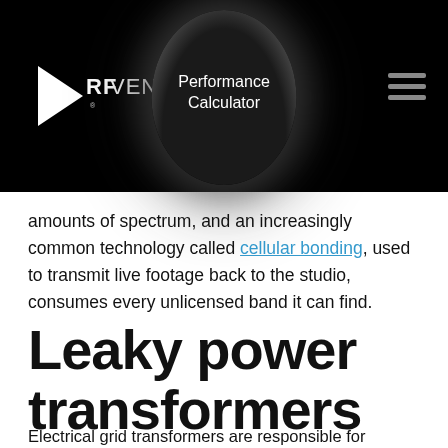RF VENUE | Performance Calculator
amounts of spectrum, and an increasingly common technology called cellular bonding, used to transmit live footage back to the studio, consumes every unlicensed band it can find.
Leaky power transformers on poles outside
Electrical grid transformers are responsible for squeezing a tremendous amount of